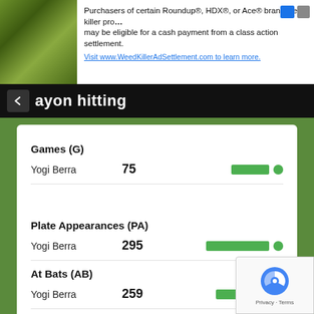[Figure (screenshot): Advertisement banner: text about Roundup, HDX, or Ace brand weed killer class action settlement with photo of plants]
ayon hitting
Games (G)
Yogi Berra 75
Plate Appearances (PA)
Yogi Berra 295
At Bats (AB)
Yogi Berra 259
Batting Average (BA)